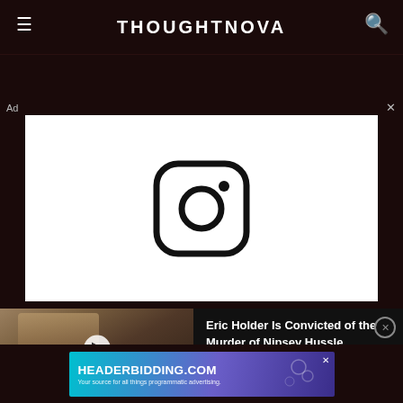THOUGHTNOVA
[Figure (screenshot): Instagram logo advertisement in white box]
[Figure (screenshot): Video thumbnail showing Eric Holder conviction news with blue overlay text]
Eric Holder Is Convicted of the Murder of Nipsey Hussle
[Figure (screenshot): HEADERBIDDING.COM advertisement banner]